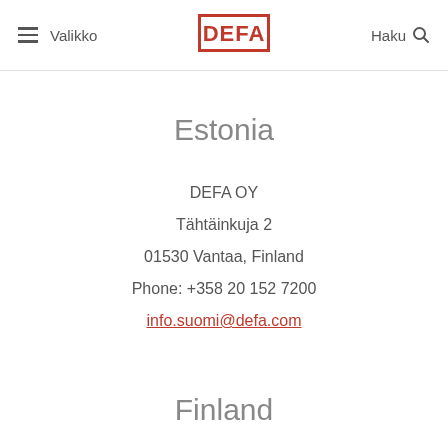Valikko | DEFA | Haku
Estonia
DEFA OY
Tähtäinkuja 2
01530 Vantaa, Finland
Phone: +358 20 152 7200
info.suomi@defa.com
Finland